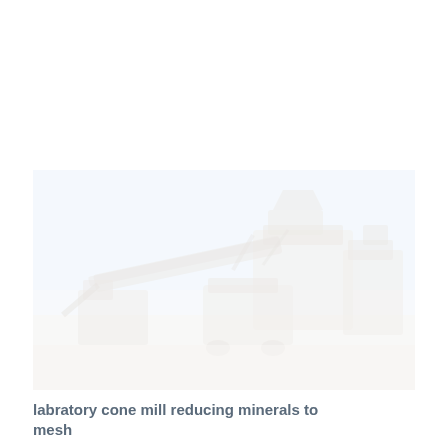[Figure (photo): A very faded/washed-out photograph of industrial mining or crushing equipment (cone mill machinery) outdoors. Large machines including what appears to be a cone crusher and conveyor equipment are visible against a pale blue sky. The image is heavily overexposed, giving it a very light, washed-out appearance.]
labratory cone mill reducing minerals to mesh